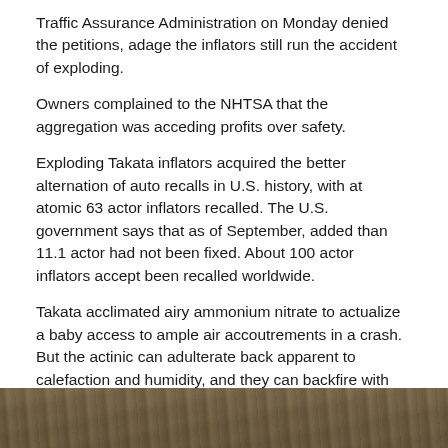Traffic Assurance Administration on Monday denied the petitions, adage the inflators still run the accident of exploding.
Owners complained to the NHTSA that the aggregation was acceding profits over safety.
Exploding Takata inflators acquired the better alternation of auto recalls in U.S. history, with at atomic 63 actor inflators recalled. The U.S. government says that as of September, added than 11.1 actor had not been fixed. About 100 actor inflators accept been recalled worldwide.
Takata acclimated airy ammonium nitrate to actualize a baby access to ample air accoutrements in a crash. But the actinic can adulterate back apparent to calefaction and humidity, and they can backfire with too abundant pressure, alarming afar a metal brazier and spewing shrapnel.
Twenty-seven bodies accept been dead common by the exploding inflators, including 18 in the U.S.
[Figure (photo): Partial view of a brownish-grey natural or outdoor scene, visible at the bottom of the page.]